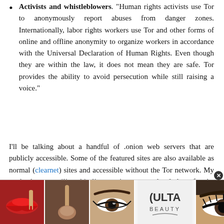Activists and whistleblowers. "Human rights activists use Tor to anonymously report abuses from danger zones. Internationally, labor rights workers use Tor and other forms of online and offline anonymity to organize workers in accordance with the Universal Declaration of Human Rights. Even though they are within the law, it does not mean they are safe. Tor provides the ability to avoid persecution while still raising a voice."
I'll be talking about a handful of .onion web servers that are publicly accessible. Some of the featured sites are also available as normal (clearnet) sites and accessible without the Tor network. My goal when compiling this list wasn't to scour the darknet for the strangest, scariest, and most unusual websites online, but rather to find the most useful and practical .onions that users can actually utilize on a day-to-day basis to improve their anonymity
[Figure (other): Advertisement banner for Ulta Beauty showing makeup photos (lips, makeup brush, eye/brow, Ulta Beauty logo, eye closeup) with 'SHOP NOW' text on dark background]